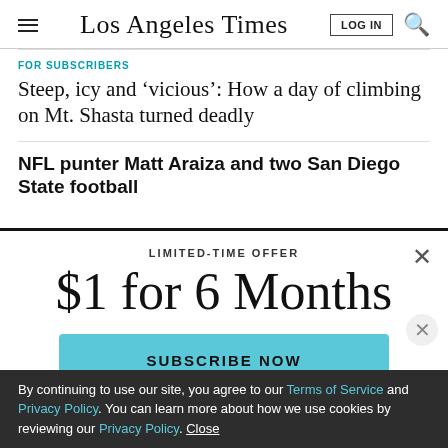Los Angeles Times
FOR SUBSCRIBERS
Steep, icy and ‘vicious’: How a day of climbing on Mt. Shasta turned deadly
NFL punter Matt Araiza and two San Diego State football
LIMITED-TIME OFFER
$1 for 6 Months
SUBSCRIBE NOW
By continuing to use our site, you agree to our Terms of Service and Privacy Policy. You can learn more about how we use cookies by reviewing our Privacy Policy. Close